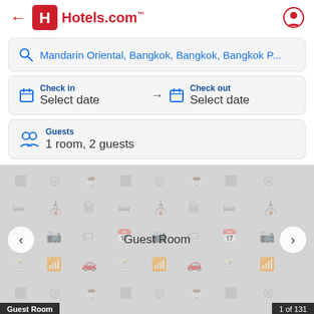Hotels.com
Mandarin Oriental, Bangkok, Bangkok, Bangkok P...
Check in
Select date → Check out
Select date
Guests
1 room, 2 guests
[Figure (screenshot): Hotels.com app screenshot showing a photo grid area for Guest Room with navigation arrows and a bottom bar showing 'Guest Room' and '1 of 131']